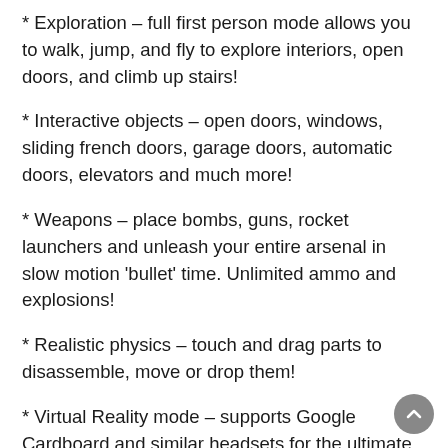* Exploration – full first person mode allows you to walk, jump, and fly to explore interiors, open doors, and climb up stairs!
* Interactive objects – open doors, windows, sliding french doors, garage doors, automatic doors, elevators and much more!
* Weapons – place bombs, guns, rocket launchers and unleash your entire arsenal in slow motion 'bullet' time. Unlimited ammo and explosions!
* Realistic physics – touch and drag parts to disassemble, move or drop them!
* Virtual Reality mode – supports Google Cardboard and similar headsets for the ultimate experience! VR Bluetooth